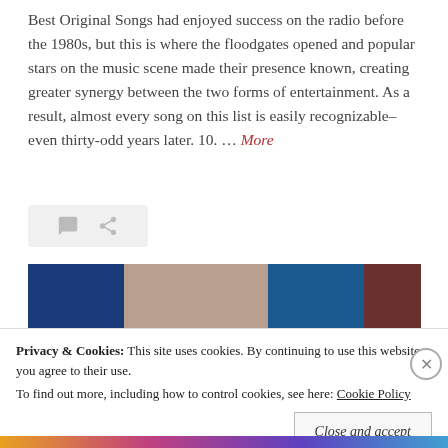Best Original Songs had enjoyed success on the radio before the 1980s, but this is where the floodgates opened and popular stars on the music scene made their presence known, creating greater synergy between the two forms of entertainment. As a result, almost every song on this list is easily recognizable–even thirty-odd years later. 10. … More
[Figure (photo): A horizontal strip showing a partial image of people, with sections of blue, skin tones, and dark background colors.]
Privacy & Cookies: This site uses cookies. By continuing to use this website, you agree to their use. To find out more, including how to control cookies, see here: Cookie Policy